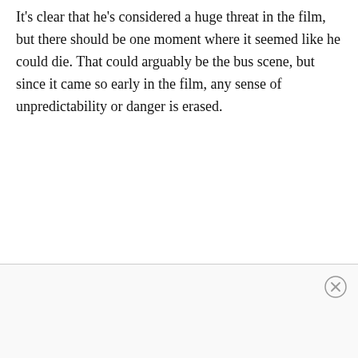It's clear that he's considered a huge threat in the film, but there should be one moment where it seemed like he could die. That could arguably be the bus scene, but since it came so early in the film, any sense of unpredictability or danger is erased.